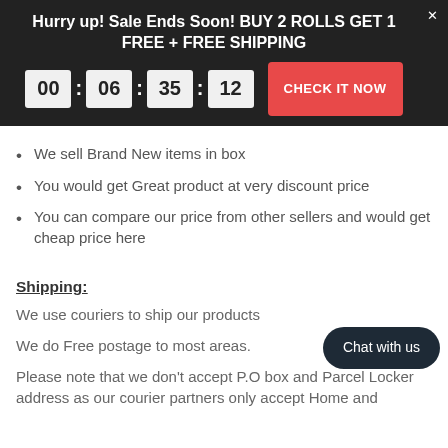Hurry up! Sale Ends Soon! BUY 2 ROLLS GET 1 FREE + FREE SHIPPING
We sell Brand New items in box
You would get Great product at very discount price
You can compare our price from other sellers and would get cheap price here
Shipping:
We use couriers to ship our products
We do Free postage to most areas.
Please note that we don't accept P.O box and Parcel Locker address as our courier partners only accept Home and